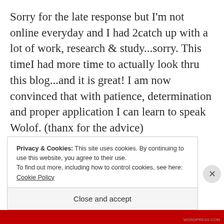Sorry for the late response but I'm not online everyday and I had 2catch up with a lot of work, research & study...sorry. This timeI had more time to actually look thru this blog...and it is great! I am now convinced that with patience, determination and proper application I can learn to speak Wolof. (thanx for the advice)
Privacy & Cookies: This site uses cookies. By continuing to use this website, you agree to their use.
To find out more, including how to control cookies, see here: Cookie Policy
Close and accept